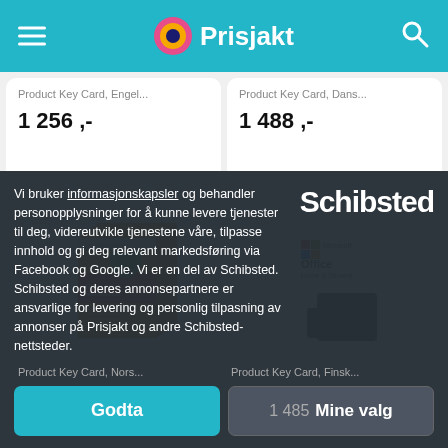Prisjakt
Product Key Card, Engel...
1 256 ,-
Product Key Card, Dans...
1 488 ,-
[Figure (photo): Office Home and Student product box - orange/yellow design with apple graphic]
[Figure (photo): Microsoft Office Home & Student product box - grey/white design]
Vi bruker informasjonskapsler og behandler personopplysninger for å kunne levere tjenester til deg, videreutvikle tjenestene våre, tilpasse innhold og gi deg relevant markedsføring via Facebook og Google. Vi er en del av Schibsted. Schibsted og deres annonsepartnere er ansvarlige for levering og personlig tilpasning av annonser på Prisjakt og andre Schibsted-nettsteder.
Schibsted
Product Key Card, Nors...
Product Key Card, Finsk...
Godta
1 485 Mine valg